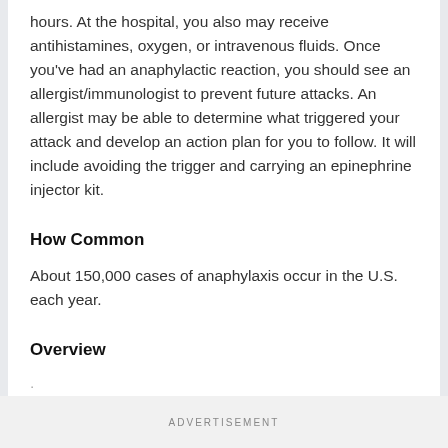hours. At the hospital, you also may receive antihistamines, oxygen, or intravenous fluids. Once you've had an anaphylactic reaction, you should see an allergist/immunologist to prevent future attacks. An allergist may be able to determine what triggered your attack and develop an action plan for you to follow. It will include avoiding the trigger and carrying an epinephrine injector kit.
How Common
About 150,000 cases of anaphylaxis occur in the U.S. each year.
Overview
...
ADVERTISEMENT